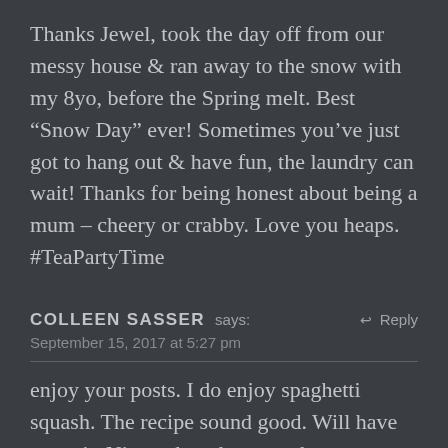Thanks Jewel, took the day off from our messy house & ran away to the snow with my 8yo, before the Spring melt. Best "Snow Day" ever! Sometimes you've just got to hang out & have fun, the laundry can wait! Thanks for being honest about being a mum – cheery or crabby. Love you heaps. #TeaPartyTime
COLLEEN SASSER says: September 15, 2017 at 5:27 pm
enjoy your posts. I do enjoy spaghetti squash. The recipe sound good. Will have to try it. Nice to hear how much